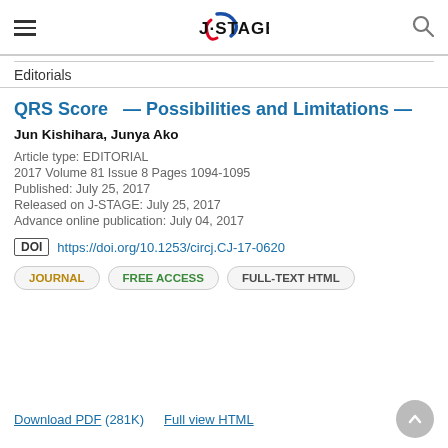J-STAGE
Editorials
QRS Score — Possibilities and Limitations —
Jun Kishihara, Junya Ako
Article type: EDITORIAL
2017 Volume 81 Issue 8 Pages 1094-1095
Published: July 25, 2017
Released on J-STAGE: July 25, 2017
Advance online publication: July 04, 2017
DOI https://doi.org/10.1253/circj.CJ-17-0620
JOURNAL  FREE ACCESS  FULL-TEXT HTML
Download PDF (281K)   Full view HTML